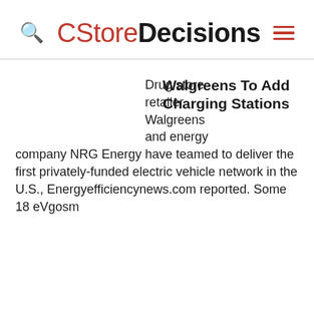CStoreDecisions
Walgreens To Add Charging Stations
Drug store retailer Walgreens and energy company NRG Energy have teamed to deliver the first privately-funded electric vehicle network in the U.S., Energyefficiencynews.com reported. Some 18 eVgosm